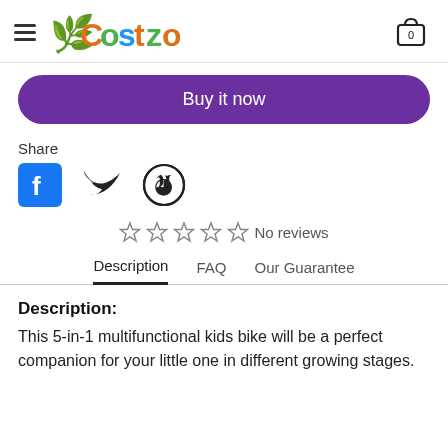Costzon
Buy it now
Share
[Figure (other): Social media share icons: Facebook, Twitter, Pinterest]
☆ ☆ ☆ ☆ ☆ No reviews
Description | FAQ | Our Guarantee
Description:
This 5-in-1 multifunctional kids bike will be a perfect companion for your little one in different growing stages.